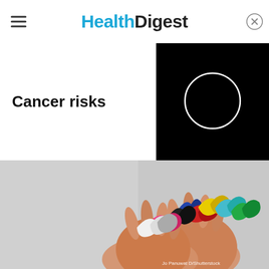Health Digest
Cancer risks
[Figure (other): Black panel with white circle outline, part of Health Digest article header UI element]
[Figure (photo): Two hands holding multiple colorful cancer awareness ribbons (blue, red, black, yellow, pink, white, teal, green) against a gray background. Photo credit: Jo Panuwat D/Shutterstock]